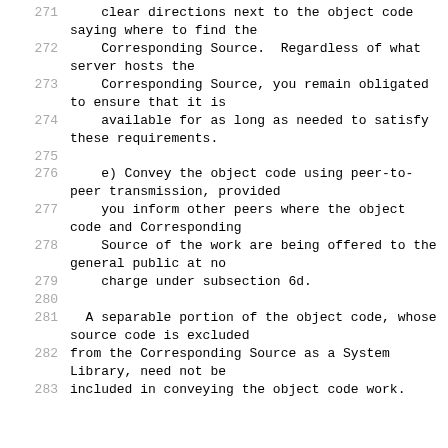271     clear directions next to the object code saying where to find the
272     Corresponding Source.  Regardless of what server hosts the
273     Corresponding Source, you remain obligated to ensure that it is
274     available for as long as needed to satisfy these requirements.
275
276     e) Convey the object code using peer-to-peer transmission, provided
277     you inform other peers where the object code and Corresponding
278     Source of the work are being offered to the general public at no
279     charge under subsection 6d.
280
281   A separable portion of the object code, whose source code is excluded
282   from the Corresponding Source as a System Library, need not be
283   included in conveying the object code work.